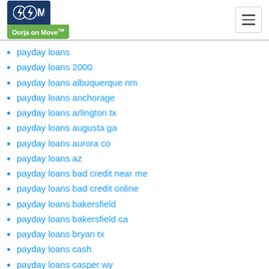Oorja on Move logo and navigation
payday loans
payday loans 2000
payday loans albuquerque nm
payday loans anchorage
payday loans arlington tx
payday loans augusta ga
payday loans aurora co
payday loans az
payday loans bad credit near me
payday loans bad credit online
payday loans bakersfield
payday loans bakersfield ca
payday loans bryan tx
payday loans cash
payday loans casper wy
payday loans cedar rapids